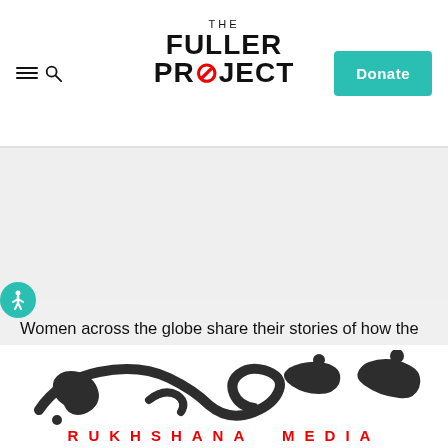THE FULLER PROJECT
Women across the globe share their stories of how the cost-of-living crisis is affecting their daily lives, as part of the latest project from The Fuller Project and the Nation.
Read more
[Figure (logo): Rukhshana Media logo — Arabic calligraphy script above the text RUKHSHANA MEDIA in red spaced capitals]